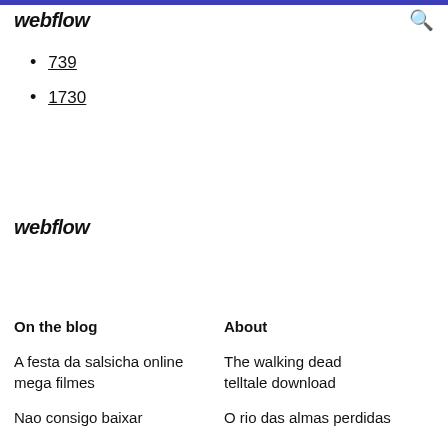webflow
739
1730
webflow
On the blog
About
A festa da salsicha online mega filmes
The walking dead telltale download
Nao consigo baixar
O rio das almas perdidas